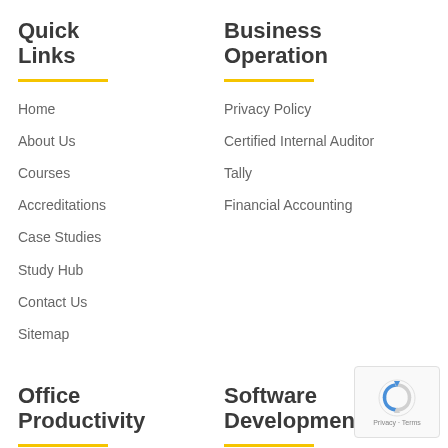Quick Links
Home
About Us
Courses
Accreditations
Case Studies
Study Hub
Contact Us
Sitemap
Business Operation
Privacy Policy
Certified Internal Auditor
Tally
Financial Accounting
Office Productivity
Software Development